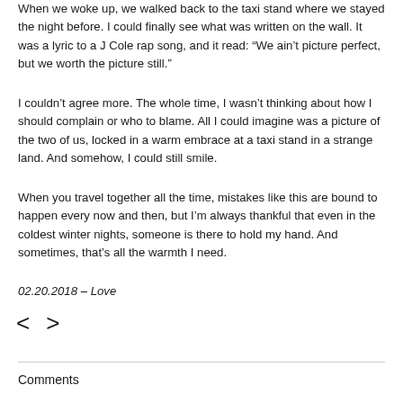When we woke up, we walked back to the taxi stand where we stayed the night before. I could finally see what was written on the wall. It was a lyric to a J Cole rap song, and it read: “We ain’t picture perfect, but we worth the picture still.”
I couldn’t agree more. The whole time, I wasn’t thinking about how I should complain or who to blame. All I could imagine was a picture of the two of us, locked in a warm embrace at a taxi stand in a strange land. And somehow, I could still smile.
When you travel together all the time, mistakes like this are bound to happen every now and then, but I’m always thankful that even in the coldest winter nights, someone is there to hold my hand. And sometimes, that’s all the warmth I need.
02.20.2018 – Love
[Figure (other): Navigation arrows: left arrow and right arrow]
Comments